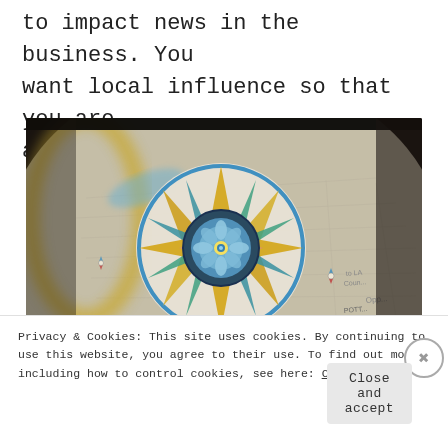to impact news in the business. You want local influence so that you are a “go-to” guy.
[Figure (photo): Close-up photograph of a decorative compass rose on an old globe or map, with colorful directions in yellow, blue, green, and pink, and faded map text visible in the background.]
Privacy & Cookies: This site uses cookies. By continuing to use this website, you agree to their use. To find out more, including how to control cookies, see here: Cookie Policy
Close and accept